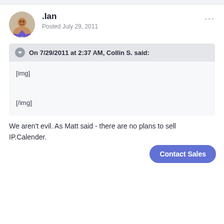.Ian
Posted July 29, 2011
On 7/29/2011 at 2:37 AM, Collin S. said:
[img]

[/img]
We aren't evil. As Matt said - there are no plans to sell IP.Calender.